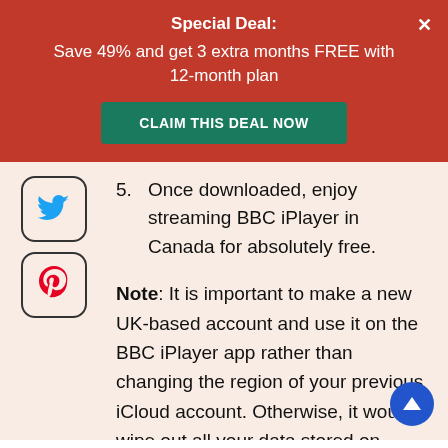Special Deal: Save 49% and get 3 extra months FREE with 12-month plan
CLAIM THIS DEAL NOW
5. Once downloaded, enjoy streaming BBC iPlayer in Canada for absolutely free.
Note: It is important to make a new UK-based account and use it on the BBC iPlayer app rather than changing the region of your previous iCloud account. Otherwise, it would wipe out all your data stored on iCloud.